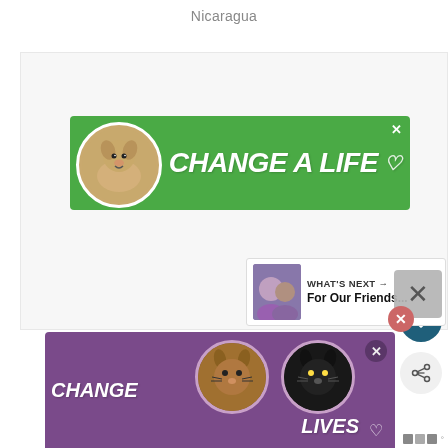Nicaragua
[Figure (illustration): Green banner advertisement showing a dog and text 'CHANGE A LIFE' with heart icon and close button]
[Figure (illustration): Circular dark teal heart button (favorite/save action)]
[Figure (illustration): Circular light gray share button with share icon]
[Figure (illustration): What's Next panel showing thumbnail image and title 'For Our Friends...' with arrow]
[Figure (illustration): Purple/mauve banner advertisement showing two cats and text 'CHANGE LIVES' with heart icon and close button]